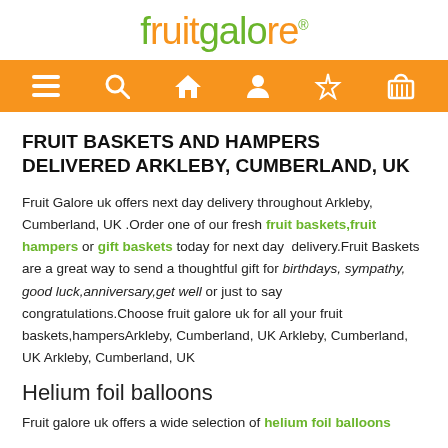fruitgalore®
[Figure (screenshot): Orange navigation bar with white icons: hamburger menu, search, home, person, magic wand, shopping basket]
FRUIT BASKETS AND HAMPERS DELIVERED ARKLEBY, CUMBERLAND, UK
Fruit Galore uk offers next day delivery throughout Arkleby, Cumberland, UK .Order one of our fresh fruit baskets,fruit hampers or gift baskets today for next day delivery.Fruit Baskets are a great way to send a thoughtful gift for birthdays, sympathy, good luck,anniversary,get well or just to say congratulations.Choose fruit galore uk for all your fruit baskets,hampersArkleby, Cumberland, UK Arkleby, Cumberland, UK Arkleby, Cumberland, UK
Helium foil balloons
Fruit galore uk offers a wide selection of helium foil balloons